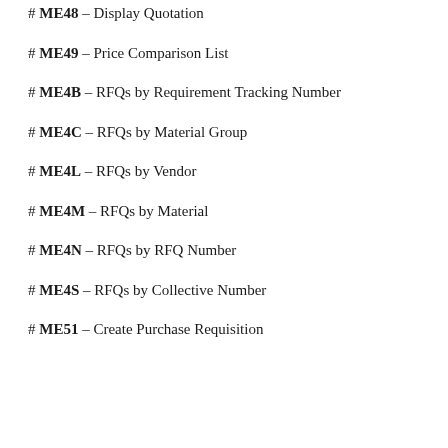# ME48 – Display Quotation
# ME49 – Price Comparison List
# ME4B – RFQs by Requirement Tracking Number
# ME4C – RFQs by Material Group
# ME4L – RFQs by Vendor
# ME4M – RFQs by Material
# ME4N – RFQs by RFQ Number
# ME4S – RFQs by Collective Number
# ME51 – Create Purchase Requisition